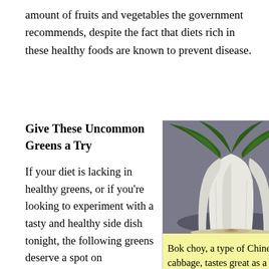amount of fruits and vegetables the government recommends, despite the fact that diets rich in these healthy foods are known to prevent disease.
Give These Uncommon Greens a Try
If your diet is lacking in healthy greens, or if you're looking to experiment with a tasty and healthy side dish tonight, the following greens deserve a spot on your vegetable. The b...
[Figure (photo): Photo of bok choy (Chinese cabbage) against a gray background, showing white stalks and dark green leafy tops]
Bok choy, a type of Chinese cabbage, tastes great as a side dish and also helps prevent cancer,